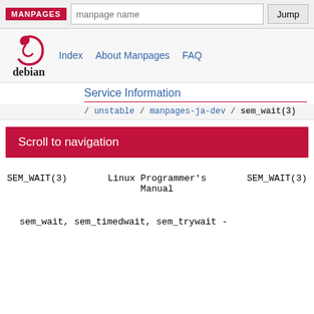MANPAGES | manpage name | Jump
Index  About Manpages  FAQ
Service Information
/ unstable / manpages-ja-dev / sem_wait(3)
Scroll to navigation
SEM_WAIT(3)   Linux Programmer's Manual   SEM_WAIT(3)
sem_wait, sem_timedwait, sem_trywait -